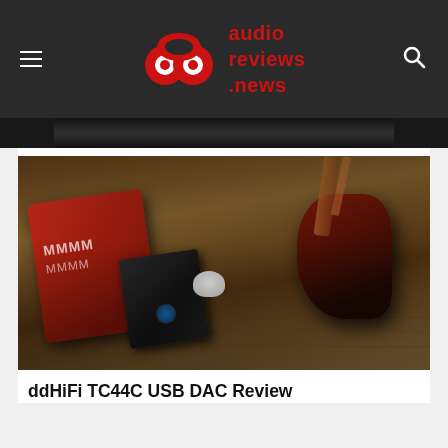audio reviews .news
[Figure (photo): Product photo showing ddHiFi TC44C USB DAC/amp dongle in red leather finish alongside IEM earphones on a wooden surface]
ddHiFi TC44C USB DAC Review